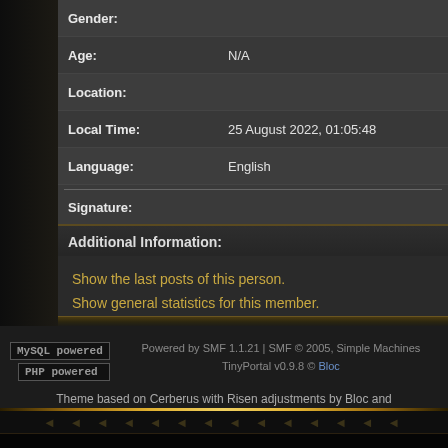| Field | Value |
| --- | --- |
| Gender: |  |
| Age: | N/A |
| Location: |  |
| Local Time: | 25 August 2022, 01:05:48 |
| Language: | English |
| Signature: |  |
Additional Information:
Show the last posts of this person.
Show general statistics for this member.
MySQL powered | PHP powered | Powered by SMF 1.1.21 | SMF © 2005, Simple Machines | TinyPortal v0.9.8 © Bloc
Theme based on Cerberus with Risen adjustments by Bloc and Modified By Artimidor for The Santharian Dream